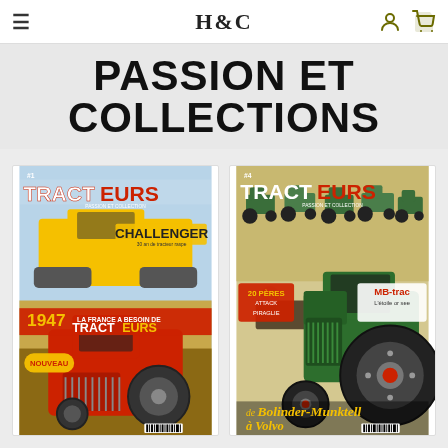H&C
PASSION ET COLLECTIONS
[Figure (photo): Magazine cover: Tracteurs Passion et Collection - issue featuring Challenger and 1947 La France a besoin de Tracteurs, with red tractor on cover]
[Figure (photo): Magazine cover: Tracteurs Passion et Collection - issue featuring MB-trac L'etoile or see and Bolinder-Munktell a Volvo, with green tractor on cover]